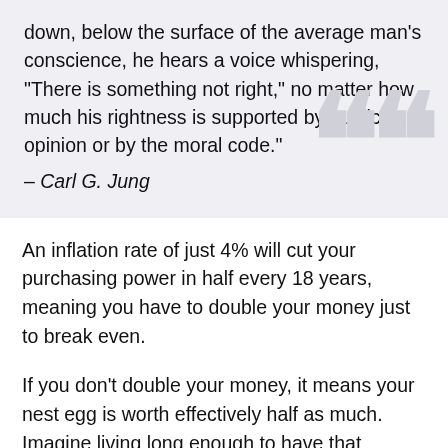down, below the surface of the average man's conscience, he hears a voice whispering, “There is something not right,” no matter how much his rightness is supported by public opinion or by the moral code."
– Carl G. Jung
An inflation rate of just 4% will cut your purchasing power in half every 18 years, meaning you have to double your money just to break even.
If you don’t double your money, it means your nest egg is worth effectively half as much. Imagine living long enough to have that happen twice during your retirement.
It’s equivalent to living on one-fourth the portfolio you